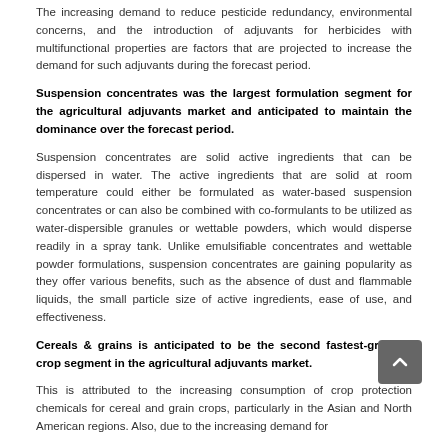The increasing demand to reduce pesticide redundancy, environmental concerns, and the introduction of adjuvants for herbicides with multifunctional properties are factors that are projected to increase the demand for such adjuvants during the forecast period.
Suspension concentrates was the largest formulation segment for the agricultural adjuvants market and anticipated to maintain the dominance over the forecast period.
Suspension concentrates are solid active ingredients that can be dispersed in water. The active ingredients that are solid at room temperature could either be formulated as water-based suspension concentrates or can also be combined with co-formulants to be utilized as water-dispersible granules or wettable powders, which would disperse readily in a spray tank. Unlike emulsifiable concentrates and wettable powder formulations, suspension concentrates are gaining popularity as they offer various benefits, such as the absence of dust and flammable liquids, the small particle size of active ingredients, ease of use, and effectiveness.
Cereals & grains is anticipated to be the second fastest-growing crop segment in the agricultural adjuvants market.
This is attributed to the increasing consumption of crop protection chemicals for cereal and grain crops, particularly in the Asian and North American regions. Also, due to the increasing demand for...